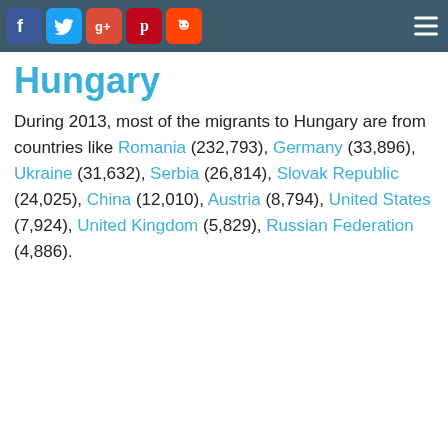Social media icons: Facebook, Twitter, Google+, Pinterest, Reddit; hamburger menu
Hungary
During 2013, most of the migrants to Hungary are from countries like Romania (232,793), Germany (33,896), Ukraine (31,632), Serbia (26,814), Slovak Republic (24,025), China (12,010), Austria (8,794), United States (7,924), United Kingdom (5,829), Russian Federation (4,886).